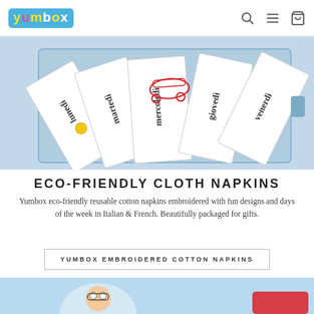Yumbox — navigation bar with logo, search, menu, and cart icons
[Figure (photo): A light-blue gift box containing multiple white folded cloth napkins embroidered with Italian days of the week (lunedì, martedì, mercoledì, giovedì, venerdì) and fun designs like race cars, arranged side by side in a fan display.]
ECO-FRIENDLY CLOTH NAPKINS
Yumbox eco-friendly reusable cotton napkins embroidered with fun designs and days of the week in Italian & French. Beautifully packaged for gifts.
YUMBOX EMBROIDERED COTTON NAPKINS
[Figure (photo): Partial bottom strip showing the beginning of another product image with a light blue background.]